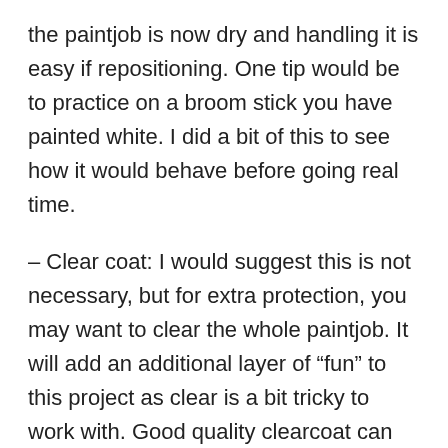the paintjob is now dry and handling it is easy if repositioning. One tip would be to practice on a broom stick you have painted white. I did a bit of this to see how it would behave before going real time.
– Clear coat: I would suggest this is not necessary, but for extra protection, you may want to clear the whole paintjob. It will add an additional layer of “fun” to this project as clear is a bit tricky to work with. Good quality clearcoat can be found in a spray can. Rustoleum is a good one and is very sandable. Paint clear in the same manner as the white paint job. The mist coat is very important here. Notes: The clear makes it difficult to assure it is applied evenly – since it is clear. Bright light is needed and you